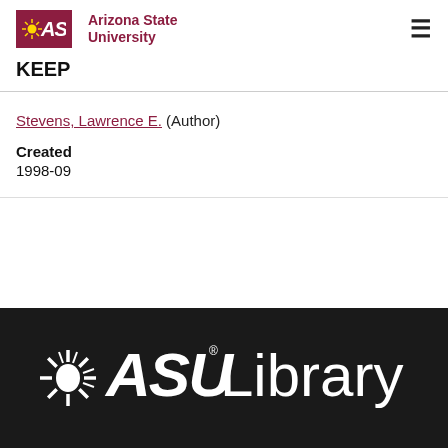ASU Arizona State University
KEEP
Stevens, Lawrence E. (Author)
Created
1998-09
[Figure (logo): ASU Library white logo on black background footer]